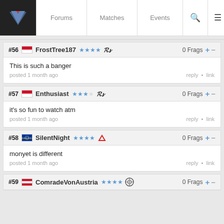Forums | Matches | Events
#56 FrostTree187 — 0 Frags — This is such a banger — posted 1 month ago
#57 Enthusiast — 0 Frags — it's so fun to watch atm — posted 1 month ago
#58 SilentNight — 0 Frags — monyet is different — posted 1 month ago
#59 ComradeVonAustria — 0 Frags